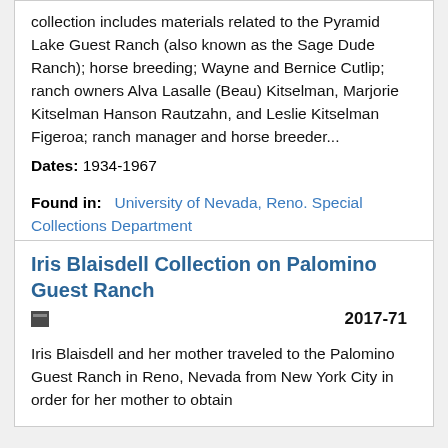collection includes materials related to the Pyramid Lake Guest Ranch (also known as the Sage Dude Ranch); horse breeding; Wayne and Bernice Cutlip; ranch owners Alva Lasalle (Beau) Kitselman, Marjorie Kitselman Hanson Rautzahn, and Leslie Kitselman Figeroa; ranch manager and horse breeder...
Dates: 1934-1967
Found in: University of Nevada, Reno. Special Collections Department
Iris Blaisdell Collection on Palomino Guest Ranch
2017-71
Iris Blaisdell and her mother traveled to the Palomino Guest Ranch in Reno, Nevada from New York City in order for her mother to obtain